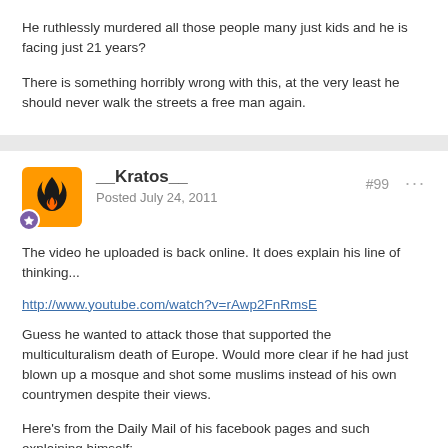He ruthlessly murdered all those people many just kids and he is facing just 21 years?
There is something horribly wrong with this, at the very least he should never walk the streets a free man again.
__Kratos__
Posted July 24, 2011
#99
The video he uploaded is back online. It does explain his line of thinking...
http://www.youtube.com/watch?v=rAwp2FnRmsE
Guess he wanted to attack those that supported the multiculturalism death of Europe. Would more clear if he had just blown up a mosque and shot some muslims instead of his own countrymen despite their views.
Here's from the Daily Mail of his facebook pages and such explaining himself: